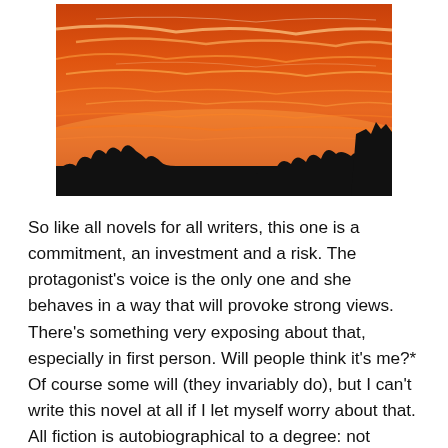[Figure (photo): A dramatic sunset photo showing vivid orange and red streaked clouds filling most of the sky, with dark silhouettes of trees along the bottom edge.]
So like all novels for all writers, this one is a commitment, an investment and a risk. The protagonist's voice is the only one and she behaves in a way that will provoke strong views. There's something very exposing about that, especially in first person. Will people think it's me?* Of course some will (they invariably do), but I can't write this novel at all if I let myself worry about that. All fiction is autobiographical to a degree: not necessarily in terms of action or mentality, but in the sense that everything that